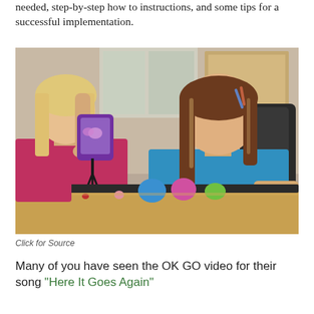needed, step-by-step how to instructions, and some tips for a successful implementation.
[Figure (photo): Two young girls sitting at a wooden desk in a classroom. The girl on the left wearing a pink shirt holds up a purple tablet on a small stand/tripod, while the girl on the right wearing a blue shirt looks at colorful clay or dough figures on the table. A black office chair is visible in the background.]
Click for Source
Many of you have seen the OK GO video for their song "Here It Goes Again"...